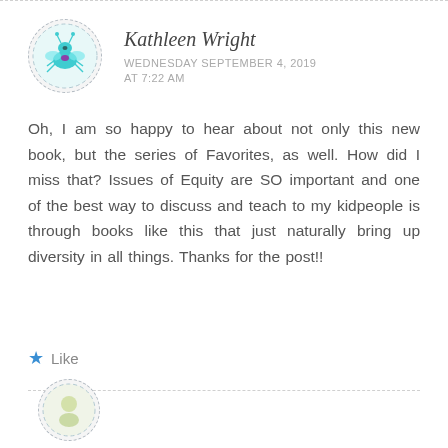[Figure (illustration): Circular avatar with dashed border showing a cartoon bug/creature illustration in teal and purple colors]
Kathleen Wright
WEDNESDAY SEPTEMBER 4, 2019 AT 7:22 AM
Oh, I am so happy to hear about not only this new book, but the series of Favorites, as well. How did I miss that? Issues of Equity are SO important and one of the best way to discuss and teach to my kidpeople is through books like this that just naturally bring up diversity in all things. Thanks for the post!!
Like
[Figure (illustration): Partial circular avatar with dashed border at bottom of page, partially cut off]